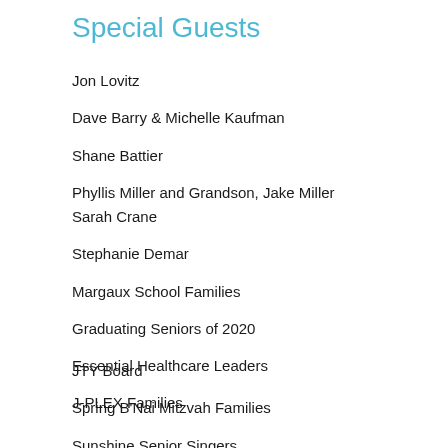Special Guests
Jon Lovitz
Dave Barry & Michelle Kaufman
Shane Battier
Phyllis Miller and Grandson, Jake Miller
Sarah Crane
Stephanie Demar
Margaux School Families
Graduating Seniors of 2020
Essential Healthcare Leaders
J-PLEX Families
JTY Board
Spring B'Nai Mitzvah Families
Sunshine Senior Singers
Empty Nesters